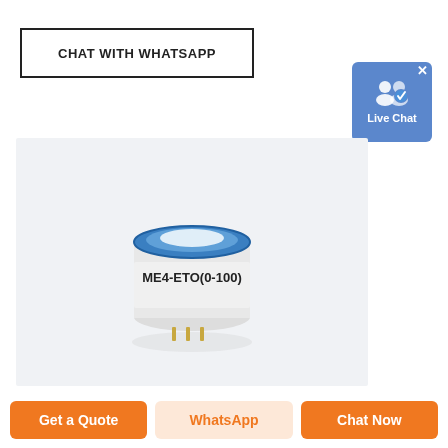CHAT WITH WHATSAPP
[Figure (screenshot): Live Chat button widget with blue background, two person icons, and checkmark badge. Shows 'Live Chat' text in white.]
[Figure (photo): Product photo of ME4-ETO(0-100) electrochemical gas sensor. Circular disc shape with blue top ring and white cylindrical body with label 'ME4-ETO(0-100)'. Small gold pins visible at bottom.]
Get a Quote
WhatsApp
Chat Now